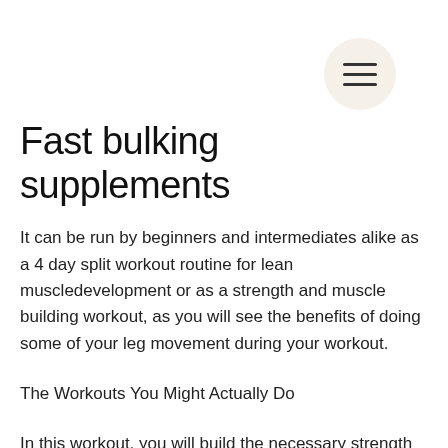[Figure (other): Hamburger menu icon inside a circular beige/cream button, top-right corner]
Fast bulking supplements
It can be run by beginners and intermediates alike as a 4 day split workout routine for lean muscledevelopment or as a strength and muscle building workout, as you will see the benefits of doing some of your leg movement during your workout.
The Workouts You Might Actually Do
In this workout, you will build the necessary strength and muscle mass to start your quest toward your ideal physique, crazy bulk vs flexx labs. In order to get the most out of these training sessions, you might find you will need to do at least 4 sets of 8-12 repetitions every workout, bulking training